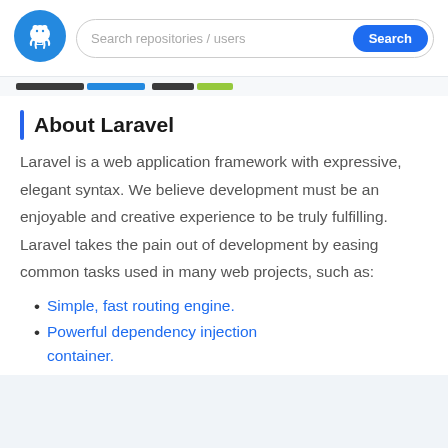[Figure (logo): GitHub logo - white octocat on blue circle background]
[Figure (screenshot): Search bar with placeholder text 'Search repositories / users' and a blue 'Search' button]
[Figure (infographic): Language color bar segments: dark gray, blue, dark gray, yellow-green]
About Laravel
Laravel is a web application framework with expressive, elegant syntax. We believe development must be an enjoyable and creative experience to be truly fulfilling. Laravel takes the pain out of development by easing common tasks used in many web projects, such as:
Simple, fast routing engine.
Powerful dependency injection container.